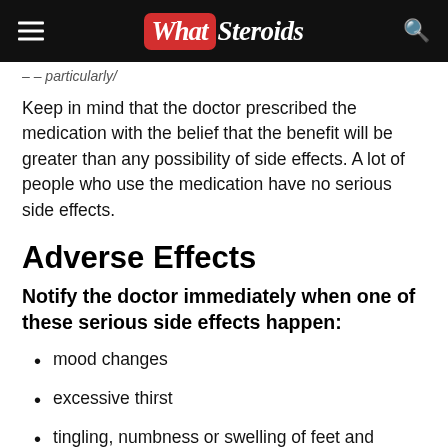WhatSteroids
Keep in mind that the doctor prescribed the medication with the belief that the benefit will be greater than any possibility of side effects. A lot of people who use the medication have no serious side effects.
Adverse Effects
Notify the doctor immediately when one of these serious side effects happen:
mood changes
excessive thirst
tingling, numbness or swelling of feet and hands
unusual feeling of tickling